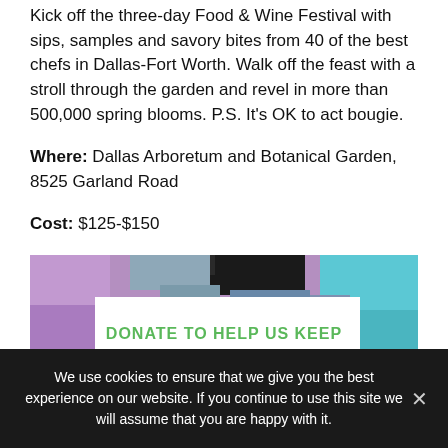Kick off the three-day Food & Wine Festival with sips, samples and savory bites from 40 of the best chefs in Dallas-Fort Worth. Walk off the feast with a stroll through the garden and revel in more than 500,000 spring blooms. P.S. It's OK to act bougie.
Where: Dallas Arboretum and Botanical Garden, 8525 Garland Road
Cost: $125-$150
[Figure (other): Colorful patchwork/abstract image with a white overlay box containing green text reading DONATE TO HELP US KEEP]
We use cookies to ensure that we give you the best experience on our website. If you continue to use this site we will assume that you are happy with it.